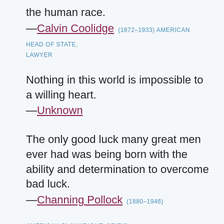the human race.
—Calvin Coolidge (1872–1933) AMERICAN HEAD OF STATE, LAWYER
Nothing in this world is impossible to a willing heart.
—Unknown
The only good luck many great men ever had was being born with the ability and determination to overcome bad luck.
—Channing Pollock (1880–1946)
AMERICAN PLAYWRIGHT, CRITIC
The mathematics of high achievement